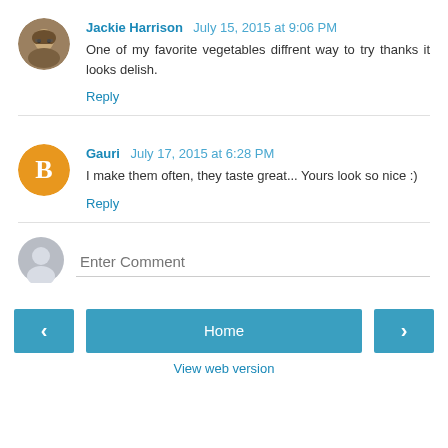[Figure (photo): Avatar photo of Jackie Harrison, a woman with glasses and brown hair]
Jackie Harrison July 15, 2015 at 9:06 PM
One of my favorite vegetables diffrent way to try thanks it looks delish.
Reply
[Figure (logo): Blogger orange circle logo icon with white B]
Gauri July 17, 2015 at 6:28 PM
I make them often, they taste great... Yours look so nice :)
Reply
[Figure (illustration): Default grey user avatar circle icon]
Enter Comment
Home
View web version